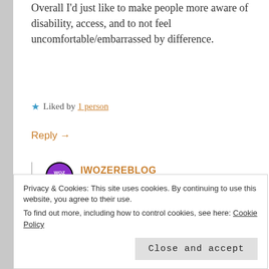Overall I'd just like to make people more aware of disability, access, and to not feel uncomfortable/embarrassed by difference.
★ Liked by 1 person
Reply →
IWOZEREBLOG
October 28, 2017 at 12:10 pm
I think you're doing an excellent job! You've certainly opened my eyes xx
Privacy & Cookies: This site uses cookies. By continuing to use this website, you agree to their use.
To find out more, including how to control cookies, see here: Cookie Policy
Close and accept